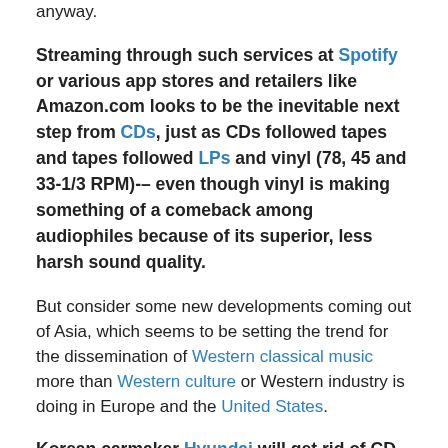anyway.
Streaming through such services at Spotify or various app stores and retailers like Amazon.com looks to be the inevitable next step from CDs, just as CDs followed tapes and tapes followed LPs and vinyl (78, 45 and 33-1/3 RPM)-– even though vinyl is making something of a comeback among audiophiles because of its superior, less harsh sound quality.
But consider some new developments coming out of Asia, which seems to be setting the trend for the dissemination of Western classical music more than Western culture or Western industry is doing in Europe and the United States.
Korean carmaker Hyundai will get rid of CD payers in its next year's models. Instead the music connections will run through Bluetooth electronics that link up